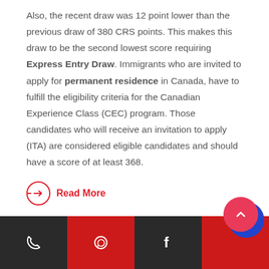Also, the recent draw was 12 point lower than the previous draw of 380 CRS points. This makes this draw to be the second lowest score requiring Express Entry Draw. Immigrants who are invited to apply for permanent residence in Canada, have to fulfill the eligibility criteria for the Canadian Experience Class (CEC) program. Those candidates who will receive an invitation to apply (ITA) are considered eligible candidates and should have a score of at least 368.
Read More